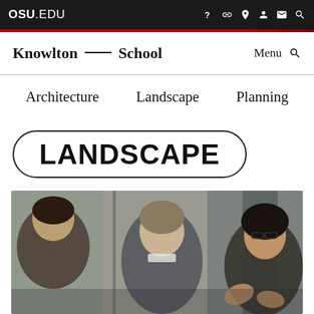OSU.EDU
Knowlton — School
Menu
Architecture   Landscape   Planning
LANDSCAPE
[Figure (photo): Three people in conversation in an academic setting. A young man in a grey jacket listens attentively and a woman with glasses and dark hair speaks animatedly, gesturing with her hands. A third person is seen from behind in the background.]